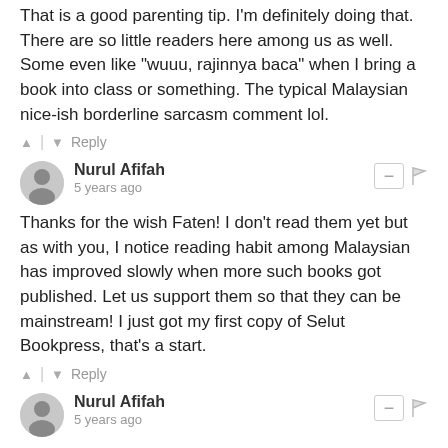That is a good parenting tip. I'm definitely doing that. There are so little readers here among us as well. Some even like "wuuu, rajinnya baca" when I bring a book into class or something. The typical Malaysian nice-ish borderline sarcasm comment lol.
↑ | ↓ Reply
Nurul Afifah
5 years ago
Thanks for the wish Faten! I don't read them yet but as with you, I notice reading habit among Malaysian has improved slowly when more such books got published. Let us support them so that they can be mainstream! I just got my first copy of Selut Bookpress, that's a start.
↑ | ↓ Reply
Nurul Afifah
5 years ago
Hahaha, I hope you'd get that moment ASAP!
↑ | ↓ Reply
Flavnesz
5 years ago